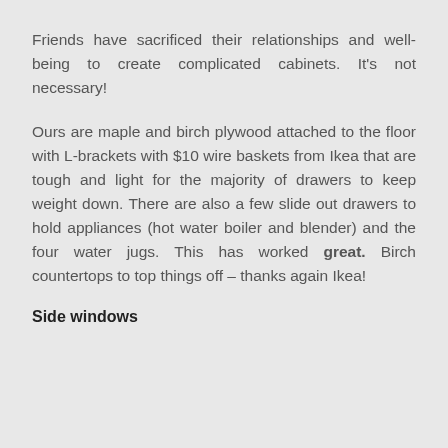Friends have sacrificed their relationships and well-being to create complicated cabinets. It's not necessary!
Ours are maple and birch plywood attached to the floor with L-brackets with $10 wire baskets from Ikea that are tough and light for the majority of drawers to keep weight down. There are also a few slide out drawers to hold appliances (hot water boiler and blender) and the four water jugs. This has worked great. Birch countertops to top things off – thanks again Ikea!
Side windows